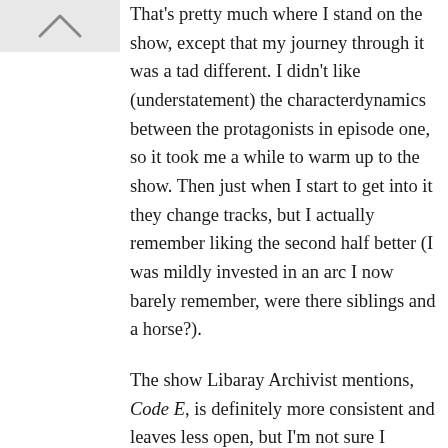[Figure (illustration): Small avatar/profile icon showing a stylized lambda or caret symbol on a light gray background]
That's pretty much where I stand on the show, except that my journey through it was a tad different. I didn't like (understatement) the characterdynamics between the protagonists in episode one, so it took me a while to warm up to the show. Then just when I start to get into it they change tracks, but I actually remember liking the second half better (I was mildly invested in an arc I now barely remember, were there siblings and a horse?).
The show Libaray Archivist mentions, Code E, is definitely more consistent and leaves less open, but I'm not sure I enjoyed it more. They're very hard to compare because they're such different shows (to me).